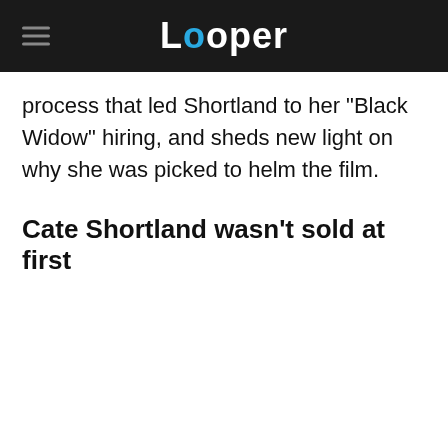Looper
process that led Shortland to her "Black Widow" hiring, and sheds new light on why she was picked to helm the film.
Cate Shortland wasn't sold at first